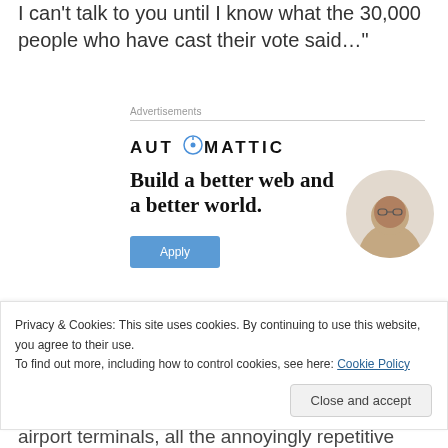I can't talk to you until I know what the 30,000 people who have cast their vote said…"
Advertisements
[Figure (logo): Automattic logo with stylized compass 'O']
[Figure (illustration): Automattic advertisement: 'Build a better web and a better world.' with Apply button and photo of person]
Privacy & Cookies: This site uses cookies. By continuing to use this website, you agree to their use.
To find out more, including how to control cookies, see here: Cookie Policy
airport terminals, all the annoyingly repetitive questions